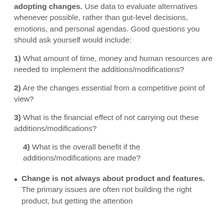adopting changes. Use data to evaluate alternatives whenever possible, rather than gut-level decisions, emotions, and personal agendas. Good questions you should ask yourself would include:
1)  What amount of time, money and human resources are needed to implement the additions/modifications?
2)  Are the changes essential from a competitive point of view?
3)  What is the financial effect of not carrying out these additions/modifications?
4)  What is the overall benefit if the additions/modifications are made?
Change is not always about product and features. The primary issues are often not building the right product, but getting the attention